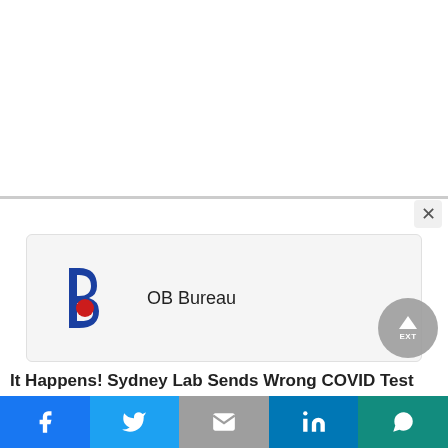[Figure (logo): OB Bureau logo — a blue letter b shape with a red circle dot, forming a stylized b icon]
OB Bureau
It Happens! Sydney Lab Sends Wrong COVID Test
[Figure (screenshot): Social share bar with Facebook, Twitter, Email, LinkedIn, WhatsApp buttons]